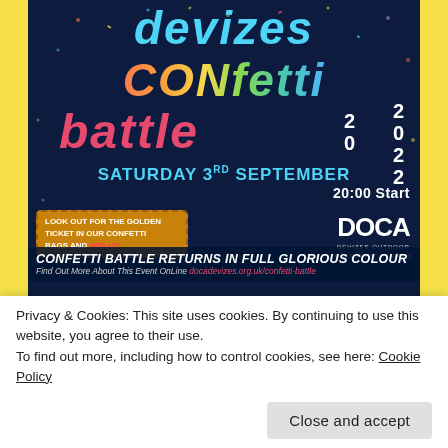[Figure (illustration): Promotional poster for Devizes Confetti Battle 2022 event on Saturday 3rd September at 20:00. Dark navy background with colorful text. Includes golden ticket promotion (look out for the golden ticket in our confetti bags and win £50), DOCA (Devizes Outdoor Celebratory Arts) logo, tagline 'Confetti Battle returns in full glorious colour', and website docadevizes.org.uk/confetti-battle.]
Privacy & Cookies: This site uses cookies. By continuing to use this website, you agree to their use.
To find out more, including how to control cookies, see here: Cookie Policy
Close and accept